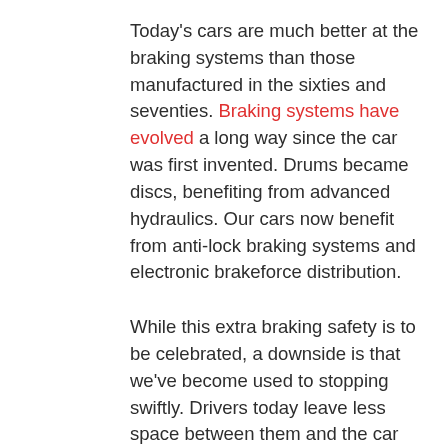Today's cars are much better at the braking systems than those manufactured in the sixties and seventies. Braking systems have evolved a long way since the car was first invented. Drums became discs, benefiting from advanced hydraulics. Our cars now benefit from anti-lock braking systems and electronic brakeforce distribution.
While this extra braking safety is to be celebrated, a downside is that we've become used to stopping swiftly. Drivers today leave less space between them and the car ahead and slam on the brakes more often. Harsh braking creates rapid and uneven wear on tyres.